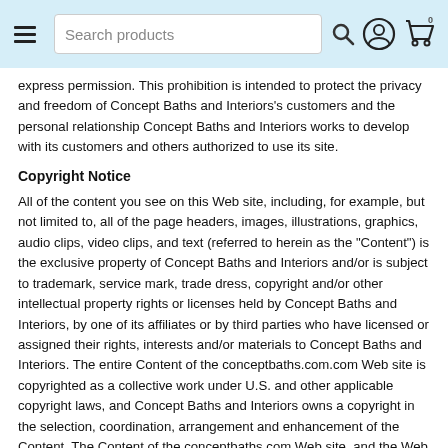Search products
express permission. This prohibition is intended to protect the privacy and freedom of Concept Baths and Interiors's customers and the personal relationship Concept Baths and Interiors works to develop with its customers and others authorized to use its site.
Copyright Notice
All of the content you see on this Web site, including, for example, but not limited to, all of the page headers, images, illustrations, graphics, audio clips, video clips, and text (referred to herein as the "Content") is the exclusive property of Concept Baths and Interiors and/or is subject to trademark, service mark, trade dress, copyright and/or other intellectual property rights or licenses held by Concept Baths and Interiors, by one of its affiliates or by third parties who have licensed or assigned their rights, interests and/or materials to Concept Baths and Interiors. The entire Content of the conceptbaths.com.com Web site is copyrighted as a collective work under U.S. and other applicable copyright laws, and Concept Baths and Interiors owns a copyright in the selection, coordination, arrangement and enhancement of the Content. The Content of the conceptbaths.com Web site, and the Web site as a whole, are intended solely for the personal and non-commercial use of the users of our site. As such a user, you may